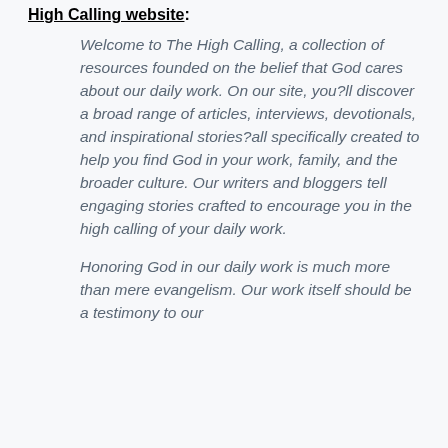High Calling website:
Welcome to The High Calling, a collection of resources founded on the belief that God cares about our daily work. On our site, you?ll discover a broad range of articles, interviews, devotionals, and inspirational stories?all specifically created to help you find God in your work, family, and the broader culture. Our writers and bloggers tell engaging stories crafted to encourage you in the high calling of your daily work.
Honoring God in our daily work is much more than mere evangelism. Our work itself should be a testimony to our